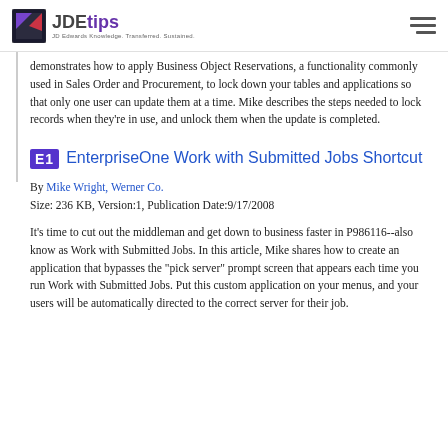JDEtips — JD Edwards Knowledge. Transferred. Sustained.
demonstrates how to apply Business Object Reservations, a functionality commonly used in Sales Order and Procurement, to lock down your tables and applications so that only one user can update them at a time. Mike describes the steps needed to lock records when they're in use, and unlock them when the update is completed.
E1  EnterpriseOne Work with Submitted Jobs Shortcut
By Mike Wright, Werner Co.
Size: 236 KB, Version:1, Publication Date:9/17/2008
It's time to cut out the middleman and get down to business faster in P986116--also know as Work with Submitted Jobs. In this article, Mike shares how to create an application that bypasses the "pick server" prompt screen that appears each time you run Work with Submitted Jobs. Put this custom application on your menus, and your users will be automatically directed to the correct server for their job.